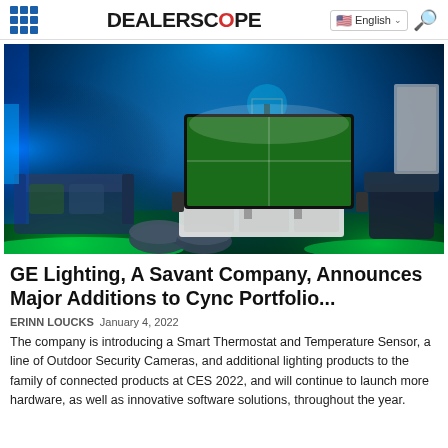DEALERSCOPE
[Figure (photo): A dark living room illuminated with blue and green LED ambient lighting around a TV showing a football game, with a sofa, ottomans, and floor lamp visible.]
GE Lighting, A Savant Company, Announces Major Additions to Cync Portfolio...
ERINN LOUCKS  January 4, 2022
The company is introducing a Smart Thermostat and Temperature Sensor, a line of Outdoor Security Cameras, and additional lighting products to the family of connected products at CES 2022, and will continue to launch more hardware, as well as innovative software solutions, throughout the year.